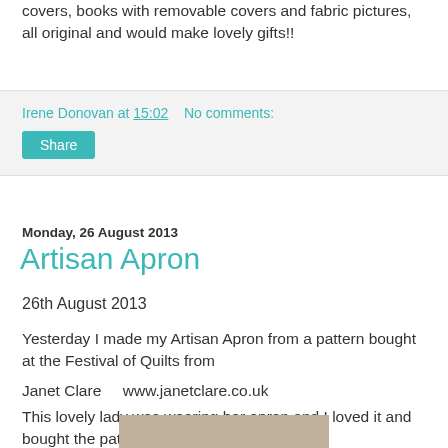covers, books with removable covers and fabric pictures, all original and would make lovely gifts!!
Irene Donovan at 15:02   No comments:
Share
Monday, 26 August 2013
Artisan Apron
26th August 2013
Yesterday I made my Artisan Apron from a pattern bought at the Festival of Quilts from
Janet Clare    www.janetclare.co.uk
This lovely lady was wearing her apron and I loved it and bought the pattern.
[Figure (photo): Photo of the Artisan Apron pattern or apron]